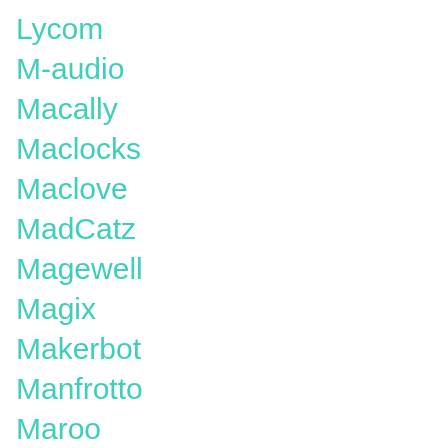Lycom
M-audio
Macally
Maclocks
Maclove
MadCatz
Magewell
Magix
Makerbot
Manfrotto
Maroo
Matrox